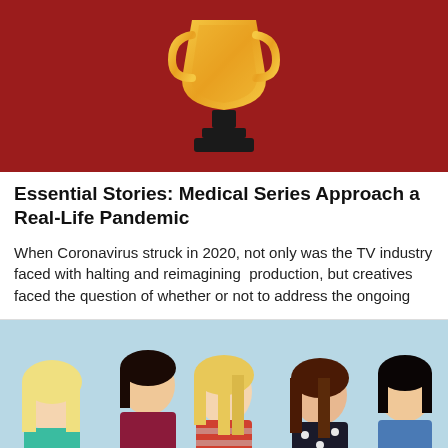[Figure (illustration): Red banner background with a golden trophy icon centered at the top]
Essential Stories: Medical Series Approach a Real-Life Pandemic
When Coronavirus struck in 2020, not only was the TV industry faced with halting and reimagining  production, but creatives faced the question of whether or not to address the ongoing
[Figure (photo): Cast photo for the TV show 'Faking It' — five young people posed against a light blue background with the show title overlaid in large yellow italic letters and 'it' in teal]